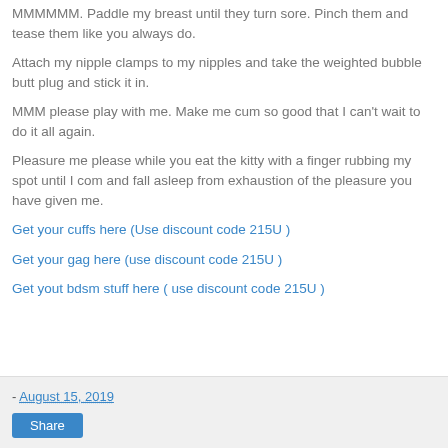MMMMMM. Paddle my breast until they turn sore. Pinch them and tease them like you always do.
Attach my nipple clamps to my nipples and take the weighted bubble butt plug and stick it in.
MMM please play with me. Make me cum so good that I can't wait to do it all again.
Pleasure me please while you eat the kitty with a finger rubbing my spot until I com and fall asleep from exhaustion of the pleasure you have given me.
Get your cuffs here (Use discount code 215U )
Get your gag here (use discount code 215U )
Get yout bdsm stuff here ( use discount code 215U )
- August 15, 2019  Share